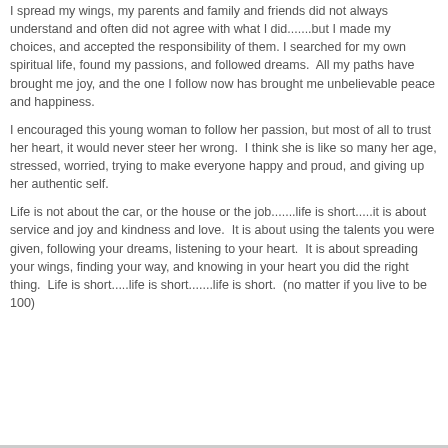I spread my wings, my parents and family and friends did not always understand and often did not agree with what I did.......but I made my choices, and accepted the responsibility of them. I searched for my own spiritual life, found my passions, and followed dreams.  All my paths have brought me joy, and the one I follow now has brought me unbelievable peace and happiness.
I encouraged this young woman to follow her passion, but most of all to trust her heart, it would never steer her wrong.  I think she is like so many her age, stressed, worried, trying to make everyone happy and proud, and giving up her authentic self.
Life is not about the car, or the house or the job.......life is short.....it is about service and joy and kindness and love.  It is about using the talents you were given, following your dreams, listening to your heart.  It is about spreading your wings, finding your way, and knowing in your heart you did the right thing.  Life is short.....life is short.......life is short.  (no matter if you live to be 100)